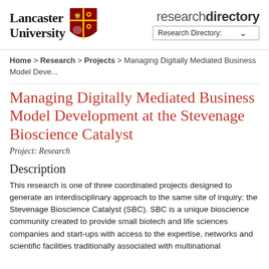[Figure (logo): Lancaster University logo with shield crest and 'research directory' text with dropdown]
Home > Research > Projects > Managing Digitally Mediated Business Model Deve...
Managing Digitally Mediated Business Model Development at the Stevenage Bioscience Catalyst
Project: Research
Description
This research is one of three coordinated projects designed to generate an interdisciplinary approach to the same site of inquiry: the Stevenage Bioscience Catalyst (SBC). SBC is a unique bioscience community created to provide small biotech and life sciences companies and start-ups with access to the expertise, networks and scientific facilities traditionally associated with multinational